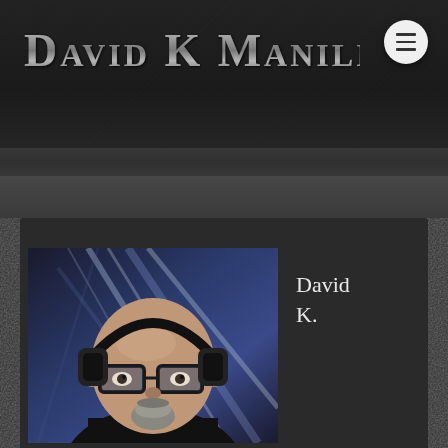David K Maniliei
[Figure (photo): Portrait photo of a bald man wearing large black headphones and dark-rimmed glasses, with a goatee beard, set against a blue and white streak/light background. The image appears stylized or digitally enhanced.]
David K.